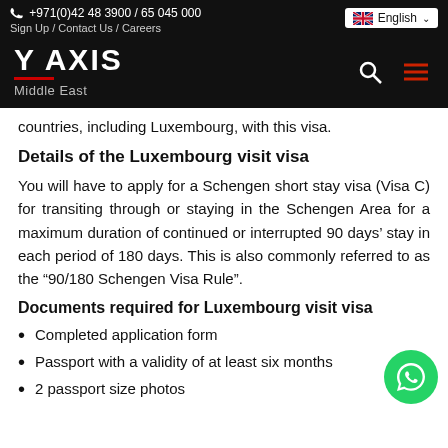+971(0)42 48 3900 / 65 045 000  Sign Up / Contact Us / Careers  English
[Figure (logo): Y AXIS Middle East logo on black background with search and menu icons]
countries, including Luxembourg, with this visa.
Details of the Luxembourg visit visa
You will have to apply for a Schengen short stay visa (Visa C) for transiting through or staying in the Schengen Area for a maximum duration of continued or interrupted 90 days’ stay in each period of 180 days. This is also commonly referred to as the “90/180 Schengen Visa Rule”.
Documents required for Luxembourg visit visa
Completed application form
Passport with a validity of at least six months
2 passport size photos